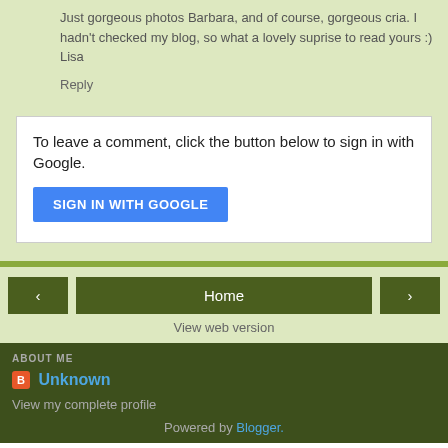Just gorgeous photos Barbara, and of course, gorgeous cria. I hadn't checked my blog, so what a lovely suprise to read yours :) Lisa
Reply
To leave a comment, click the button below to sign in with Google.
SIGN IN WITH GOOGLE
Home
View web version
ABOUT ME
Unknown
View my complete profile
Powered by Blogger.